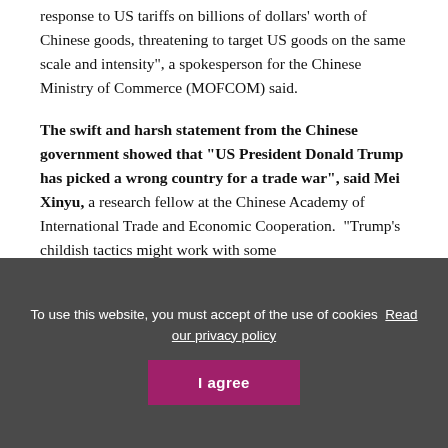response to US tariffs on billions of dollars' worth of Chinese goods, threatening to target US goods on the same scale and intensity", a spokesperson for the Chinese Ministry of Commerce (MOFCOM) said.
The swift and harsh statement from the Chinese government showed that "US President Donald Trump has picked a wrong country for a trade war", said Mei Xinyu, a research fellow at the Chinese Academy of International Trade and Economic Cooperation.  "Trump's childish tactics might work with some
To use this website, you must accept of the use of cookies  Read our privacy policy
I agree